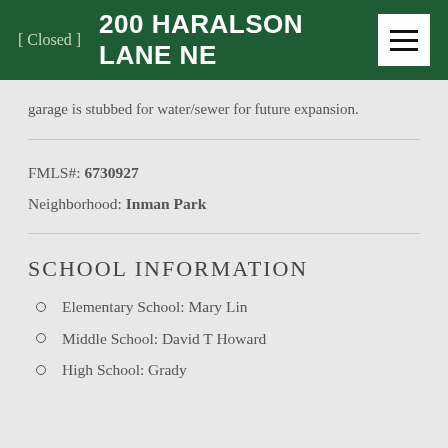[ Closed ]  200 HARALSON LANE NE
garage is stubbed for water/sewer for future expansion.
FMLS#: 6730927
Neighborhood: Inman Park
SCHOOL INFORMATION
Elementary School: Mary Lin
Middle School: David T Howard
High School: Grady